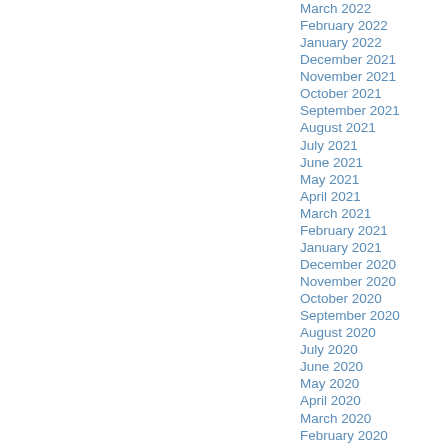March 2022
February 2022
January 2022
December 2021
November 2021
October 2021
September 2021
August 2021
July 2021
June 2021
May 2021
April 2021
March 2021
February 2021
January 2021
December 2020
November 2020
October 2020
September 2020
August 2020
July 2020
June 2020
May 2020
April 2020
March 2020
February 2020
January 2020
December 2019
November 2019
October 2019
September 2019
August 2019
July 2019